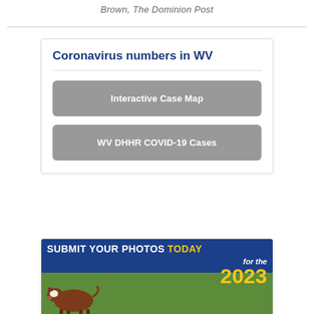Brown, The Dominion Post
Coronavirus numbers in WV
Interactive Case Map
WV DHHR COVID-19 Cases
[Figure (infographic): Submit Your Photos TODAY for the 2023 promotional banner with cow in green field background]